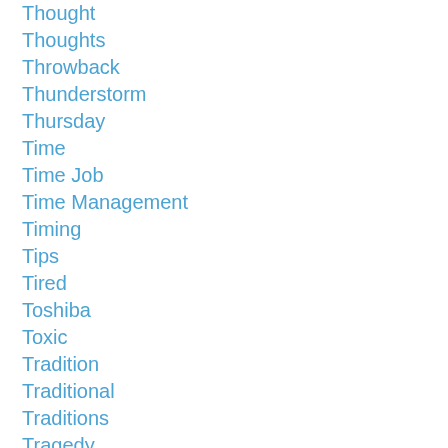Thought
Thoughts
Throwback
Thunderstorm
Thursday
Time
Time Job
Time Management
Timing
Tips
Tired
Toshiba
Toxic
Tradition
Traditional
Traditions
Tragedy
Train
Transfer
Transition
Travel